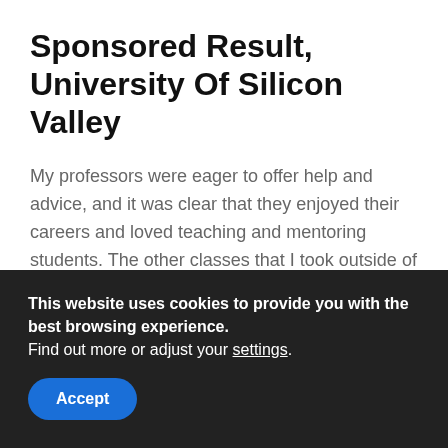Sponsored Result, University Of Silicon Valley
My professors were eager to offer help and advice, and it was clear that they enjoyed their careers and loved teaching and mentoring students. The other classes that I took outside of my major (as part of Pepperdine's liberal arts curriculum) were also excellent. I found my religion classes especially fascinating; given that I was not a Christian student, all the material was new for me and quite enlightening. The classes I took for my minor –
This website uses cookies to provide you with the best browsing experience. Find out more or adjust your settings.
Accept